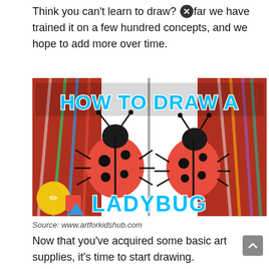Think you can't learn to draw? ✕ far we have trained it on a few hundred concepts, and we hope to add more over time.
[Figure (illustration): Thumbnail image with text 'HOW TO DRAW A LADYBUG' showing two illustrated ladybugs on a red and white background with markers and colored pencils. Art for Kids Hub logo icons visible in lower left corner.]
Source: www.artforkidshub.com
Now that you've acquired some basic art supplies, it's time to start drawing. Animeoutline is one of the best and largest resources for quality, original anime and manga style drawing tutorials.